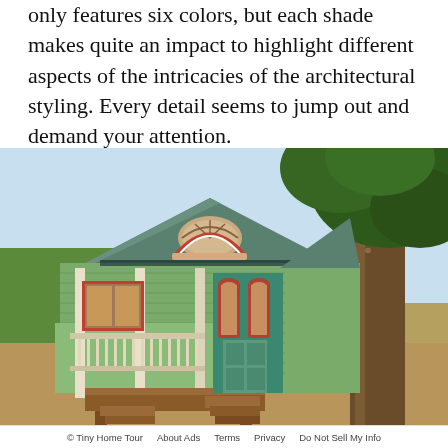only features six colors, but each shade makes quite an impact to highlight different aspects of the intricacies of the architectural styling. Every detail seems to jump out and demand your attention.
[Figure (photo): A small Victorian-style tiny house painted green with red-trimmed arched windows, a metal roof, a front porch with white railings and wood decking, set in a sunny outdoor landscape with a large oak tree to the right.]
TINY TEXAS HOUSES
ADVERTISEMENT
The interior is largely made of long leaf pine, and the
© Tiny Home Tour   About Ads   Terms   Privacy   Do Not Sell My Info